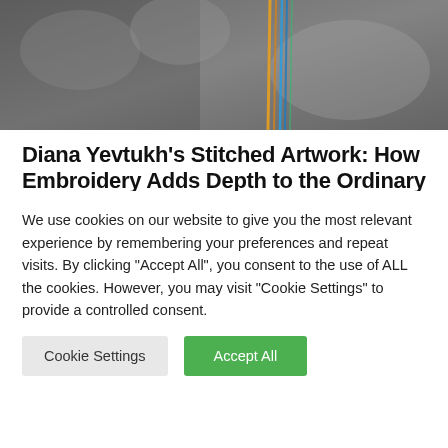[Figure (photo): Black and white textured image with colorful threads visible, partial top crop]
Diana Yevtukh's Stitched Artwork: How Embroidery Adds Depth to the Ordinary
[Figure (photo): Dark dramatic image with red fluid forms and a glowing white oval ring of light in the center]
We use cookies on our website to give you the most relevant experience by remembering your preferences and repeat visits. By clicking "Accept All", you consent to the use of ALL the cookies. However, you may visit "Cookie Settings" to provide a controlled consent.